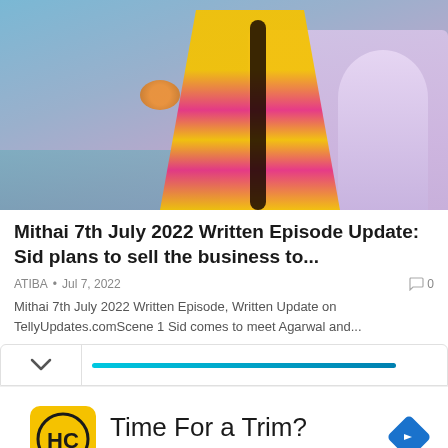[Figure (photo): A smiling woman dressed in a colorful yellow and pink traditional Indian outfit, holding a plate of food, with a temple/monument and river in the background. Promotional image for the show Mithai.]
Mithai 7th July 2022 Written Episode Update: Sid plans to sell the business to...
ATIBA • Jul 7, 2022 · 0
Mithai 7th July 2022 Written Episode, Written Update on TellyUpdates.comScene 1 Sid comes to meet Agarwal and...
[Figure (screenshot): A progress/collapse bar with a chevron down arrow on the left and a cyan/teal progress bar filling most of the width on the right]
[Figure (infographic): Advertisement: Hair Cuttery logo (HC in black circle on yellow square background), text 'Time For a Trim?' and 'Hair Cuttery' in blue, with a blue diamond navigation arrow on the right. Navigation arrows (play/close) on the far left.]